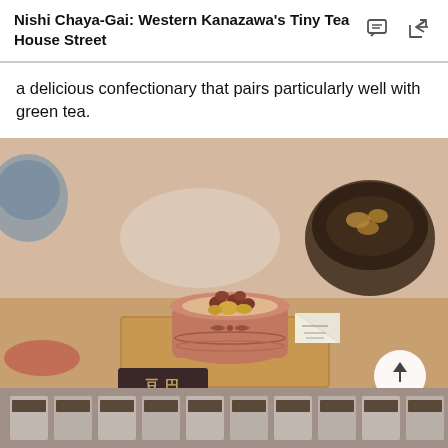Nishi Chaya-Gai: Western Kanazawa's Tiny Tea House Street
a delicious confectionary that pairs particularly well with green tea.
[Figure (photo): Close-up photograph of Japanese confectionary served in a small round ceramic pot on a wooden tray, with a triangular label card beside it and another dark bowl in the background (blurred). A dark menu card with Japanese kanji characters is visible in the foreground.]
[Figure (photo): Partial view of Japanese confectionary boxes or packaging arranged on a surface, visible at the bottom of the page.]